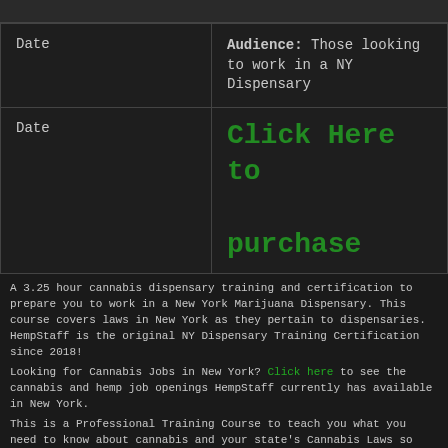| Date | Audience / Action |
| --- | --- |
| Date | Audience: Those looking to work in a NY Dispensary |
| Date | Click Here to purchase |
A 3.25 hour cannabis dispensary training and certification to prepare you to work in a New York Marijuana Dispensary. This course covers laws in New York as they pertain to dispensaries. HempStaff is the original NY Dispensary Training Certification since 2018!
Looking for Cannabis Jobs in New York? Click here to see the cannabis and hemp job openings HempStaff currently has available in New York.
This is a Professional Training Course to teach you what you need to know about cannabis and your state's Cannabis Laws so that you have the knowledge needed to apply to work in a marijuana dispensary. The goal of this class is to help you understand the cannabis industry and cannabis products, as well as help boost your resume and give you the knowledge you need to speak intelligently when you land that interview for an opening at a dispensary in the near future.
For those with no legal experience to put on a resume, training greatly increases your chances of getting a job in the marijuana industry! On average, a Marijuana